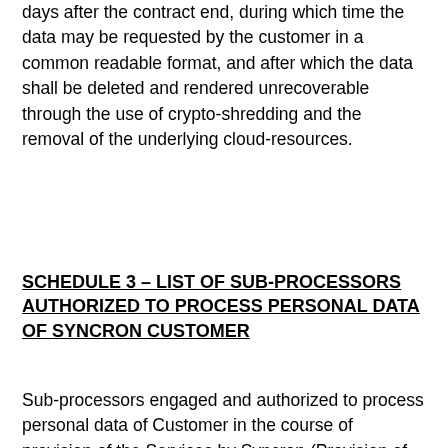days after the contract end, during which time the data may be requested by the customer in a common readable format, and after which the data shall be deleted and rendered unrecoverable through the use of crypto-shredding and the removal of the underlying cloud-resources.
SCHEDULE 3 – LIST OF SUB-PROCESSORS AUTHORIZED TO PROCESS PERSONAL DATA OF SYNCRON CUSTOMER
Sub-processors engaged and authorized to process personal data of Customer in the course of provision of the Services by Syncron (Provision of Services may